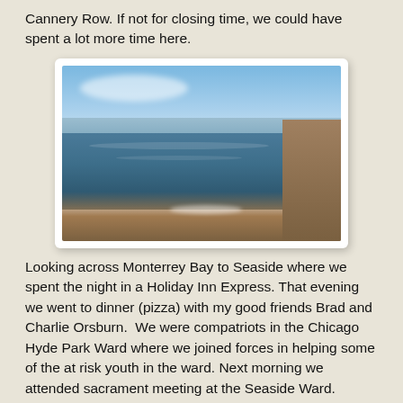Cannery Row. If not for closing time, we could have spent a lot more time here.
[Figure (photo): A coastal bay scene looking across Monterrey Bay toward Seaside. Blue sky with light clouds, calm bay water in shades of blue, rocky shoreline in the foreground, and a pier/building structure on the right edge.]
Looking across Monterrey Bay to Seaside where we spent the night in a Holiday Inn Express. That evening we went to dinner (pizza) with my good friends Brad and Charlie Orsburn.  We were compatriots in the Chicago Hyde Park Ward where we joined forces in helping some of the at risk youth in the ward. Next morning we attended sacrament meeting at the Seaside Ward. Amazingly, 90% of the congregation were in their seats for the 9:00 am start-- something that doesn't happen in Senior Cords 12th